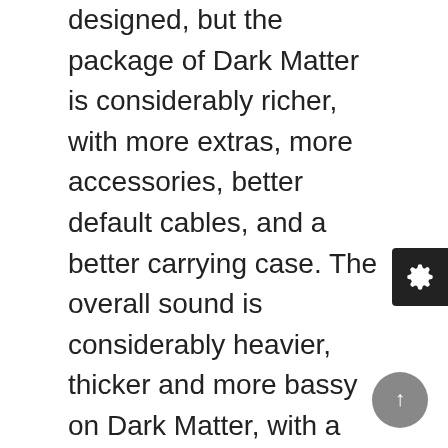designed, but the package of Dark Matter is considerably richer, with more extras, more accessories, better default cables, and a better carrying case. The overall sound is considerably heavier, thicker and more bassy on Dark Matter, with a richer low end, better overall impact and also a bit more treble emphasis. Dark Matter can be tuned to sound just like VxV in overall tuning, but here I'm describing the default signature, the most V-Shaped one, which is the raw potential of the driver. VxV remains a bit more natural and flatter, with less emphasis on both lows and highs, with a more balanced sound, but for most music I